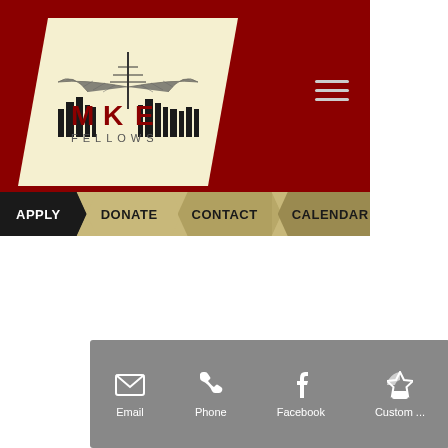[Figure (logo): MKE Fellows logo with Milwaukee skyline and calatrava bridge icon on cream parallelogram background, dark red header]
APPLY  DONATE  CONTACT  CALENDAR
Email  Phone  Facebook  Custom...